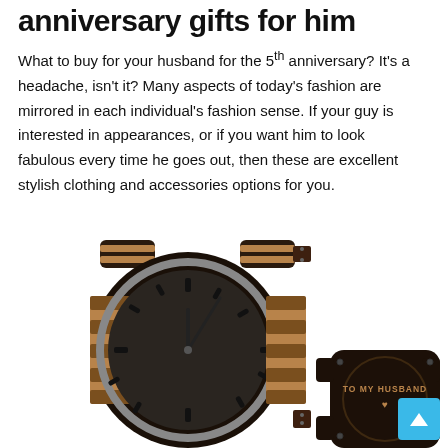anniversary gifts for him
What to buy for your husband for the 5th anniversary? It's a headache, isn't it? Many aspects of today's fashion are mirrored in each individual's fashion sense. If your guy is interested in appearances, or if you want him to look fabulous every time he goes out, then these are excellent stylish clothing and accessories options for you.
[Figure (photo): A wooden wristwatch with zebra wood and dark wood band, displayed with the watch face showing (dark dial with hour markers and silver bezel) and a second view showing the back of the watch engraved with 'TO MY HUSBAND']